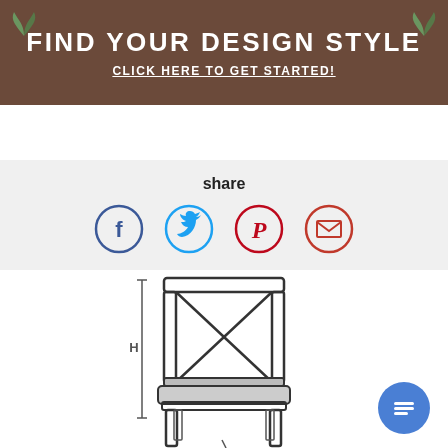FIND YOUR DESIGN STYLE
CLICK HERE TO GET STARTED!
share
[Figure (illustration): Social share icons: Facebook (blue circle with f), Twitter (light blue circle with bird), Pinterest (red circle with P), Email (red circle with envelope)]
[Figure (illustration): Line drawing of a dining chair (front view) with cross-back design, upholstered seat, four legs, and a vertical measurement line labeled H on the left side.]
[Figure (illustration): Blue circular chat/messaging button with lines icon in the bottom right corner]